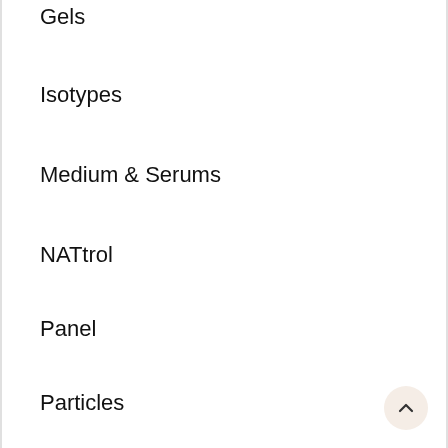Gels
Isotypes
Medium & Serums
NATtrol
Panel
Particles
PCR
Pcr Kits
Peptides
Reagents